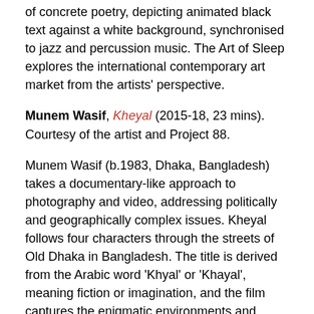of concrete poetry, depicting animated black text against a white background, synchronised to jazz and percussion music. The Art of Sleep explores the international contemporary art market from the artists' perspective.
Munem Wasif, Kheyal (2015-18, 23 mins). Courtesy of the artist and Project 88.
Munem Wasif (b.1983, Dhaka, Bangladesh) takes a documentary-like approach to photography and video, addressing politically and geographically complex issues. Kheyal follows four characters through the streets of Old Dhaka in Bangladesh. The title is derived from the Arabic word 'Khyal' or 'Khayal', meaning fiction or imagination, and the film captures the enigmatic environments and unique identities; shifting between real and imagined narratives, navigating between the conscious and subconscious, and reveals the very different rhythm of life that inhabits the historic city. Living amid the grandeur of